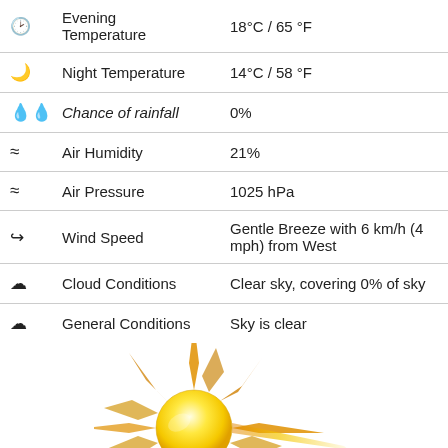| 🕐 Evening Temperature | 18°C / 65 °F |
| ☽ Night Temperature | 14°C / 58 °F |
| 💧 Chance of rainfall | 0% |
| ≈ Air Humidity | 21% |
| ≈ Air Pressure | 1025 hPa |
| ➶ Wind Speed | Gentle Breeze with 6 km/h (4 mph) from West |
| ☁ Cloud Conditions | Clear sky, covering 0% of sky |
| ☁ General Conditions | Sky is clear |
[Figure (illustration): Yellow sun illustration with spiky rays, golden orange gradient rays extending outward from a shiny yellow circular center]